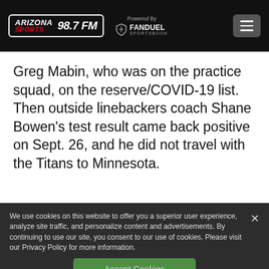ARIZONA SPORTS 98.7 FM — Powered By FANDUEL SPORTSBOOK
Greg Mabin, who was on the practice squad, on the reserve/COVID-19 list. Then outside linebackers coach Shane Bowen's test result came back positive on Sept. 26, and he did not travel with the Titans to Minnesota.
We use cookies on this website to offer you a superior user experience, analyze site traffic, and personalize content and advertisements. By continuing to use our site, you consent to our use of cookies. Please visit our Privacy Policy for more information.
Accept Cookies